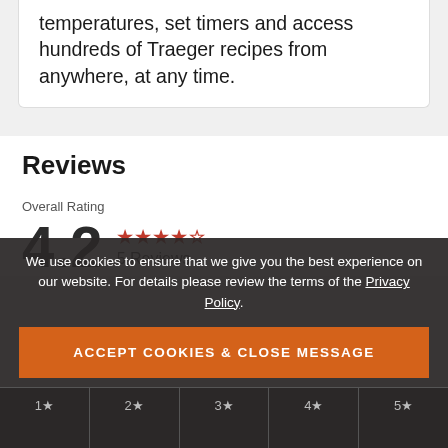temperatures, set timers and access hundreds of Traeger recipes from anywhere, at any time.
Reviews
Overall Rating
4.2  ★★★★☆  5 Reviews
We use cookies to ensure that we give you the best experience on our website. For details please review the terms of the Privacy Policy.
ACCEPT COOKIES & CLOSE MESSAGE
Disable cookies